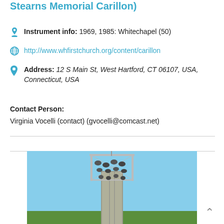Stearns Memorial Carillon)
Instrument info: 1969, 1985: Whitechapel (50)
http://www.whfirstchurch.org/content/carillon
Address: 12 S Main St, West Hartford, CT 06107, USA, Connecticut, USA
Contact Person:
Virginia Vocelli (contact) (gvocelli@comcast.net)
[Figure (photo): A tall modern carillon bell tower with multiple bells visible at the top, set against a clear blue sky with trees at the base.]